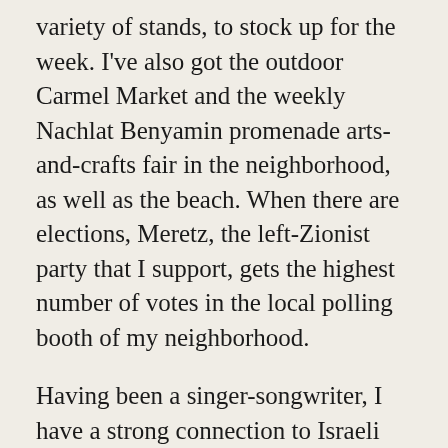variety of stands, to stock up for the week. I've also got the outdoor Carmel Market and the weekly Nachlat Benyamin promenade arts-and-crafts fair in the neighborhood, as well as the beach. When there are elections, Meretz, the left-Zionist party that I support, gets the highest number of votes in the local polling booth of my neighborhood.
Having been a singer-songwriter, I have a strong connection to Israeli music, alongside rock, '60s/'70s protest music and doo wop. There was a time when I also saw every new Israeli film, but there are so many good ones, feature and documentary, today that I can't keep up.
[caption id="attachment_69086" align="alignright" width="276"]